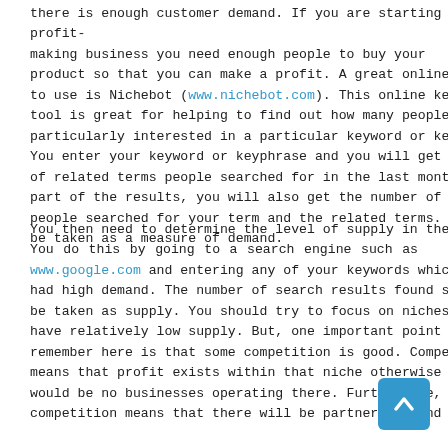there is enough customer demand. If you are starting a profit-making business you need enough people to buy your product so that you can make a profit. A great online resource to use is Nichebot (www.nichebot.com). This online keyword tool is great for helping to find out how many people are particularly interested in a particular keyword or keyphrase. You enter your keyword or keyphrase and you will get a list of related terms people searched for in the last month. As part of the results, you will also get the number of times people searched for your term and the related terms. This can be taken as a measure of demand.
You then need to determine the level of supply in the market. You do this by going to a search engine such as www.google.com and entering any of your keywords which had high demand. The number of search results found should be taken as supply. You should try to focus on niches which have relatively low supply. But, one important point to remember here is that some competition is good. Competition means that profit exists within that niche otherwise there would be no businesses operating there. Furthermore, competition means that there will be partners around for you to use in affiliate relationships among others. Also...